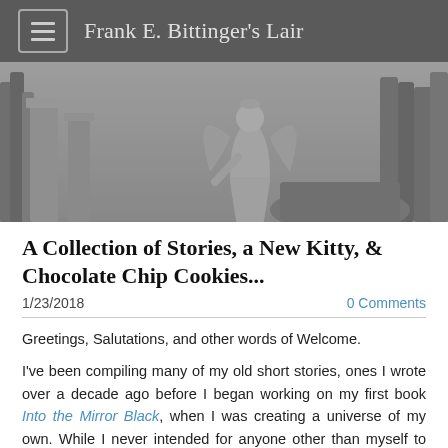Frank E. Bittinger's Lair
[Figure (photo): Black and white photograph of a cemetery angel statue with wings, stone monuments, and bare trees in the background.]
A Collection of Stories, a New Kitty, & Chocolate Chip Cookies...
1/23/2018
0 Comments
Greetings, Salutations, and other words of Welcome.
I've been compiling many of my old short stories, ones I wrote over a decade ago before I began working on my first book Into the Mirror Black, when I was creating a universe of my own. While I never intended for anyone other than myself to ever read these stories, I wrote them as a means of fleshing out this world I was creating--so I